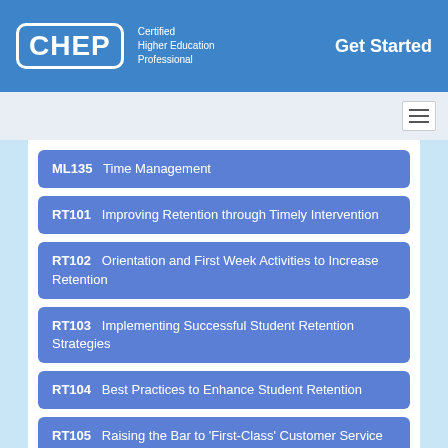CHEP — Certified Higher Education Professional | Get Started
ML135   Time Management
RT101   Improving Retention through Timely Intervention
RT102   Orientation and First Week Activities to Increase Retention
RT103   Implementing Successful Student Retention Strategies
RT104   Best Practices to Enhance Student Retention
RT105   Raising the Bar to 'First-Class' Customer Service